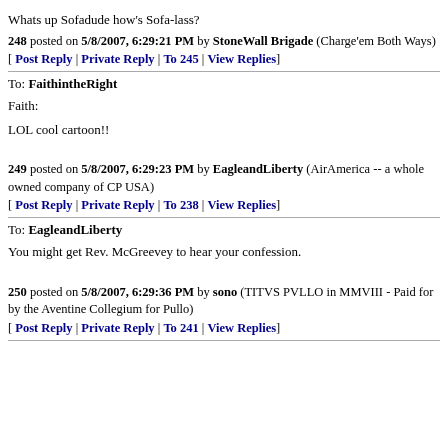Whats up Sofadude how's Sofa-lass?
248 posted on 5/8/2007, 6:29:21 PM by StoneWall Brigade (Charge'em Both Ways)
[ Post Reply | Private Reply | To 245 | View Replies]
To: FaithintheRight
Faith:
LOL cool cartoon!!
249 posted on 5/8/2007, 6:29:23 PM by EagleandLiberty (AirAmerica -- a whole owned company of CP USA)
[ Post Reply | Private Reply | To 238 | View Replies]
To: EagleandLiberty
You might get Rev. McGreevey to hear your confession.
250 posted on 5/8/2007, 6:29:36 PM by sono (TITVS PVLLO in MMVIII - Paid for by the Aventine Collegium for Pullo)
[ Post Reply | Private Reply | To 241 | View Replies]